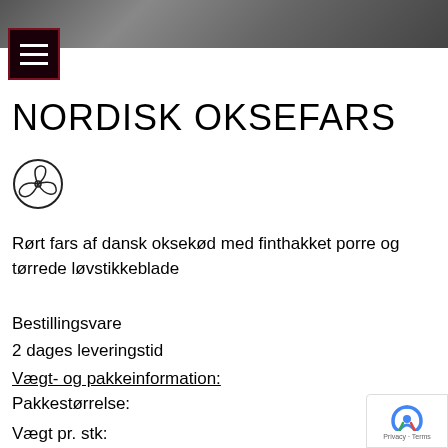[Figure (photo): Dark grey textured background header image]
[Figure (screenshot): Hamburger menu button with three horizontal white lines on dark/maroon background]
NORDISK OKSEFARS
[Figure (illustration): Circular icon with fan/propeller-like symbol]
Rørt fars af dansk oksekød med finthakket porre og tørrede løvstikkeblade
Bestillingsvare
2 dages leveringstid
Vægt- og pakkeinformation:
Pakkestørrelse:
Vægt pr. stk:
Vægt pr kasse: